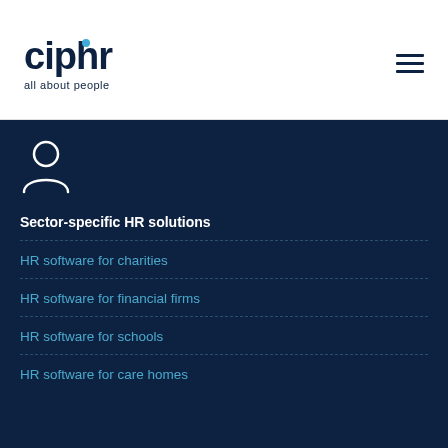[Figure (logo): Ciphr logo with 'all about people' tagline and hamburger menu icon]
[Figure (illustration): White person/user silhouette icon on dark navy background]
Sector-specific HR solutions
HR software for charities
HR software for financial firms
HR software for schools
HR software for care homes